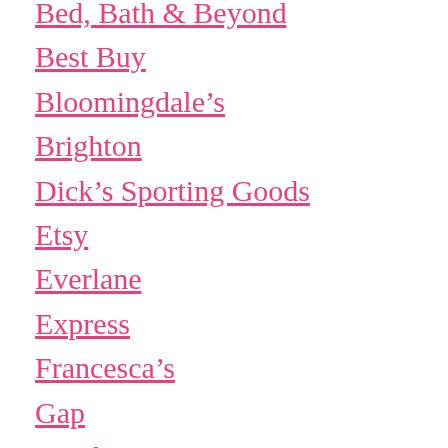Bed, Bath & Beyond
Best Buy
Bloomingdale's
Brighton
Dick's Sporting Goods
Etsy
Everlane
Express
Francesca's
Gap
Kendra Scott
Kirklands
Land's End
Lilly Pulitzer
LL Bean
Loft